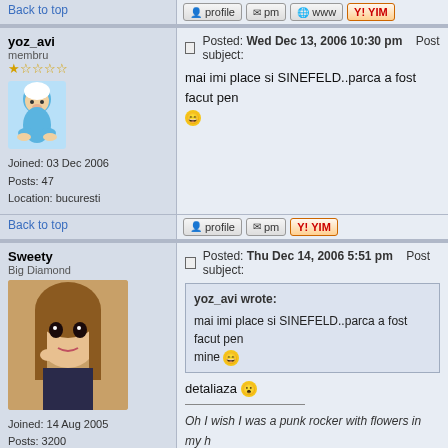Back to top | [profile] [pm] [www] [YIM]
yoz_avi
membru
Joined: 03 Dec 2006
Posts: 47
Location: bucuresti
Posted: Wed Dec 13, 2006 10:30 pm   Post subject:
mai imi place si SINEFELD..parca a fost facut pen...
Back to top | [profile] [pm] [YIM]
Sweety
Big Diamond
Joined: 14 Aug 2005
Posts: 3200
Posted: Thu Dec 14, 2006 5:51 pm   Post subject:
yoz_avi wrote:
mai imi place si SINEFELD..parca a fost facut pen...
mine
detaliaza
___________
Oh I wish I was a punk rocker with flowers in my h...
Back to top | [profile] [pm] [ICQ]
Anne
Posted: Fri Dec 15, 2006 6:14 pm   Post subject: